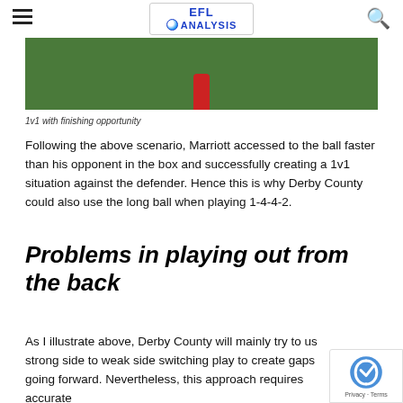EFL ANALYSIS
[Figure (photo): A football player in red jersey running on a green pitch, viewed from above. 1v1 with finishing opportunity.]
1v1 with finishing opportunity
Following the above scenario, Marriott accessed to the ball faster than his opponent in the box and successfully creating a 1v1 situation against the defender. Hence this is why Derby County could also use the long ball when playing 1-4-4-2.
Problems in playing out from the back
As I illustrate above, Derby County will mainly try to use strong side to weak side switching play to create gaps going forward. Nevertheless, this approach requires accurate